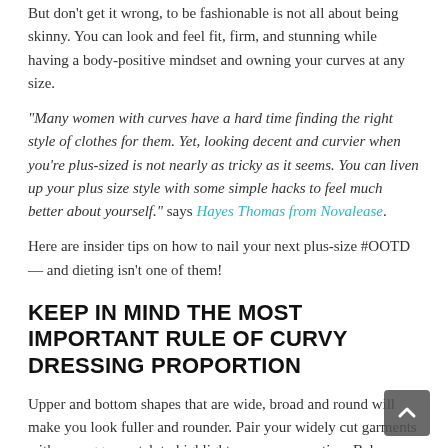But don't get it wrong, to be fashionable is not all about being skinny. You can look and feel fit, firm, and stunning while having a body-positive mindset and owning your curves at any size.
"Many women with curves have a hard time finding the right style of clothes for them. Yet, looking decent and curvier when you're plus-sized is not nearly as tricky as it seems. You can liven up your plus size style with some simple hacks to feel much better about yourself." says Hayes Thomas from Novalease.
Here are insider tips on how to nail your next plus-size #OOTD — and dieting isn't one of them!
KEEP IN MIND THE MOST IMPORTANT RULE OF CURVY DRESSING PROPORTION
Upper and bottom shapes that are wide, broad and round will make you look fuller and rounder. Pair your widely cut garments with a snugger match to highlight your curvy section. Balance a  wide-leg trouser with a fitting shirt, a shirt with a dart cut or a skirt...